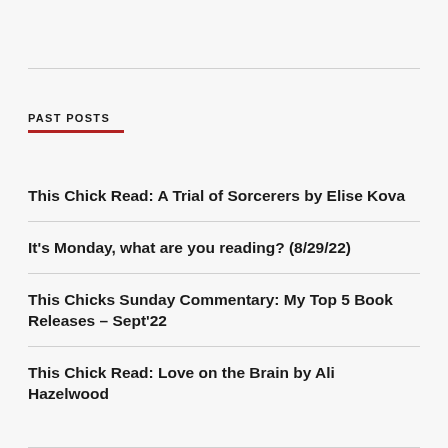PAST POSTS
This Chick Read: A Trial of Sorcerers by Elise Kova
It's Monday, what are you reading? (8/29/22)
This Chicks Sunday Commentary: My Top 5 Book Releases – Sept'22
This Chick Read: Love on the Brain by Ali Hazelwood